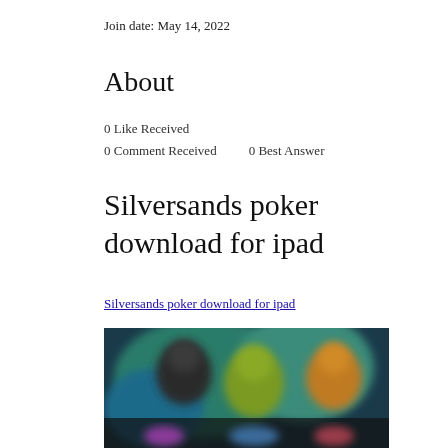Join date: May 14, 2022
About
0 Like Received
0 Comment Received    0 Best Answer
Silversands poker download for ipad
Silversands poker download for ipad
[Figure (photo): Blurred screenshot of a poker or gaming app interface with colorful characters and dark background]